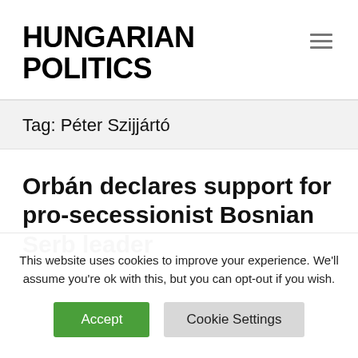HUNGARIAN POLITICS
Tag: Péter Szijjártó
Orbán declares support for pro-secessionist Bosnian Serb leader
This website uses cookies to improve your experience. We'll assume you're ok with this, but you can opt-out if you wish.